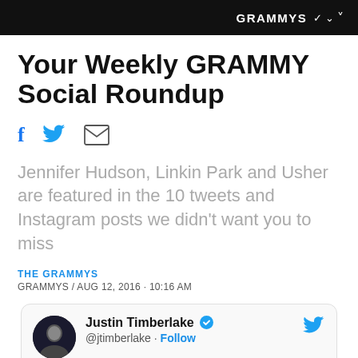GRAMMYS
Your Weekly GRAMMY Social Roundup
[Figure (infographic): Social share icons: Facebook (f), Twitter bird, Email envelope]
Jennifer Hudson, Linkin Park and Usher are featured in the 10 tweets and Instagram posts we didn't want you to miss
THE GRAMMYS
GRAMMYS / AUG 12, 2016 · 10:16 AM
[Figure (screenshot): Tweet card: Justin Timberlake @jtimberlake · Follow with verified badge and Twitter bird icon]